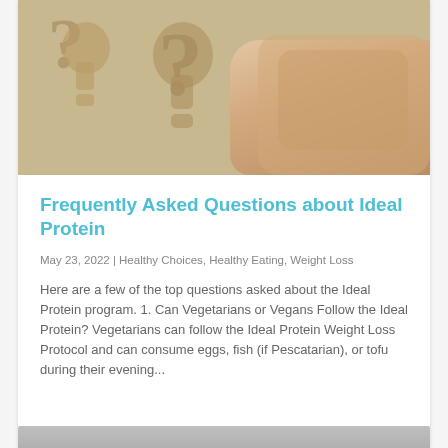[Figure (photo): A photo of hands holding cardboard question mark cutouts on a wooden surface, suggesting FAQ or inquiry theme.]
Frequently Asked Questions about Ideal Protein
May 23, 2022 | Healthy Choices, Healthy Eating, Weight Loss
Here are a few of the top questions asked about the Ideal Protein program. 1. Can Vegetarians or Vegans Follow the Ideal Protein? Vegetarians can follow the Ideal Protein Weight Loss Protocol and can consume eggs, fish (if Pescatarian), or tofu during their evening...